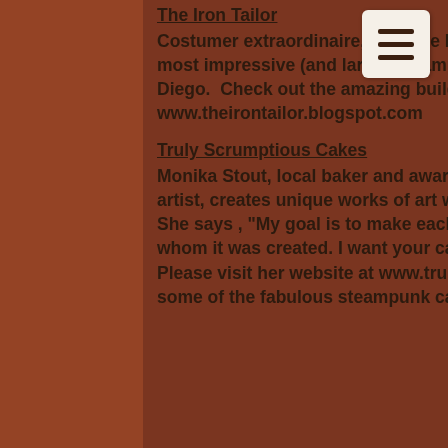The Iron Tailor
Costumer extraordinaire, Bob The Iron Tailor, is creating some of the most impressive (and large) Steampunk costumes and props in San Diego.  Check out the amazing builds and free tutorials at his blog, www.theirontailor.blogspot.com
Truly Scrumptious Cakes
Monika Stout, local baker and award-winning Food Network cake artist, creates unique works of art with cake, icing, fondant and sugar. She says , "My goal is to make each one as unique as the person for whom it was created. I want your cake to surprise and delight you..." Please visit her website at www.trulyscrumptouscakes.com to see some of the fabulous steampunk cakes she has